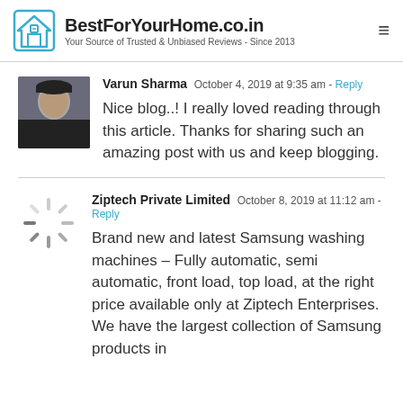BestForYourHome.co.in - Your Source of Trusted & Unbiased Reviews - Since 2013
Varun Sharma  October 4, 2019 at 9:35 am - Reply

Nice blog..! I really loved reading through this article. Thanks for sharing such an amazing post with us and keep blogging.
Ziptech Private Limited  October 8, 2019 at 11:12 am - Reply

Brand new and latest Samsung washing machines – Fully automatic, semi automatic, front load, top load, at the right price available only at Ziptech Enterprises. We have the largest collection of Samsung products in